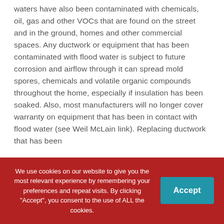waters have also been contaminated with chemicals, oil, gas and other VOCs that are found on the street and in the ground, homes and other commercial spaces. Any ductwork or equipment that has been contaminated with flood water is subject to future corrosion and airflow through it can spread mold spores, chemicals and volatile organic compounds throughout the home, especially if insulation has been soaked. Also, most manufacturers will no longer cover warranty on equipment that has been in contact with flood water (see Weil McLain link). Replacing ductwork that has been
We use cookies on our website to give you the most relevant experience by remembering your preferences and repeat visits. By clicking "Accept", you consent to the use of ALL the cookies.